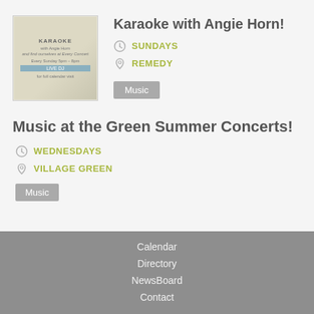[Figure (photo): Thumbnail image for Karaoke with Angie Horn event, appears to be a flyer with blue accent and handwritten-style text on a cream/beige background]
Karaoke with Angie Horn!
SUNDAYS
REMEDY
Music
Music at the Green Summer Concerts!
WEDNESDAYS
VILLAGE GREEN
Music
Calendar
Directory
NewsBoard
Contact